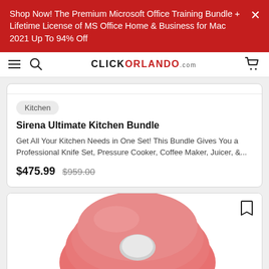Shop Now! The Premium Microsoft Office Training Bundle + Lifetime License of MS Office Home & Business for Mac 2021 Up To 94% Off
CLICKORLANDO.com
Kitchen
Sirena Ultimate Kitchen Bundle
Get All Your Kitchen Needs in One Set! This Bundle Gives You a Professional Knife Set, Pressure Cooker, Coffee Maker, Juicer, &...
$475.99  $959.00
[Figure (photo): A pink/coral colored kitchen appliance (appears to be an electric can opener or similar device) photographed from above on a white background.]